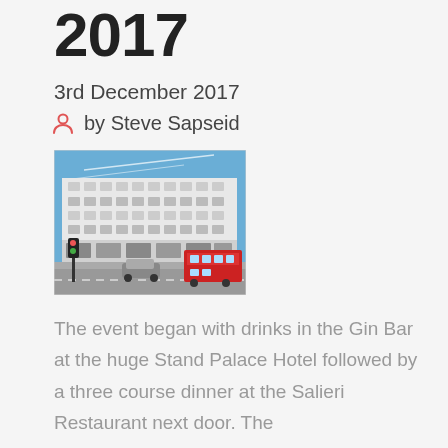2017
3rd December 2017
by Steve Sapseid
[Figure (photo): Exterior photograph of the Stand Palace Hotel, a large white classical building on a London street corner with a red double-decker bus and traffic lights visible.]
The event began with drinks in the Gin Bar at the huge Stand Palace Hotel followed by a three course dinner at the Salieri Restaurant next door. The